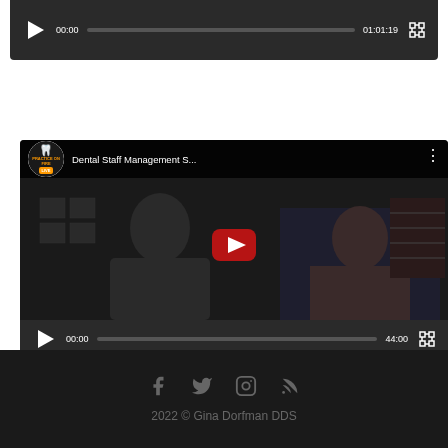[Figure (screenshot): Video player bottom controls bar showing play button, 00:00 timestamp, progress bar, 01:01:19 duration, and fullscreen button on dark background]
[Figure (screenshot): YouTube-style video player showing 'Dental Staff Management S...' video from Practice on Fire LIVE channel. Shows two people in video thumbnail with red play button overlay. Controls show 00:00 / 44:00 duration.]
2022 © Gina Dorfman DDS